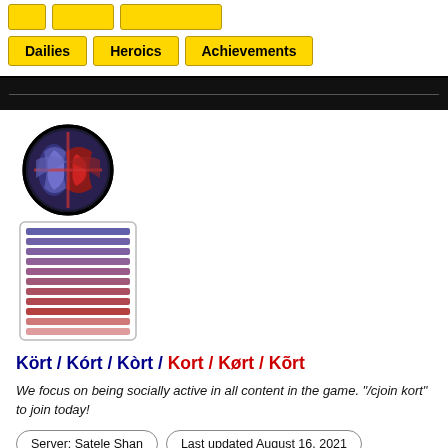Dailies | Heroics | Achievements
[Figure (logo): Star Wars The Old Republic guild logo — circular emblem combining Republic and Imperial symbols, blue and red on black, with a border. Below the logo is a stacked bar/progress display showing colored horizontal bars in shades of purple, red, and pink.]
Kört / Kórt / Kòrt / Kort / Kørt / Kõrt
We focus on being socially active in all content in the game. "/cjoin kort" to join today!
Server: Satele Shan
Last updated August 16, 2021
PST,EST,GMT,CET,AUST